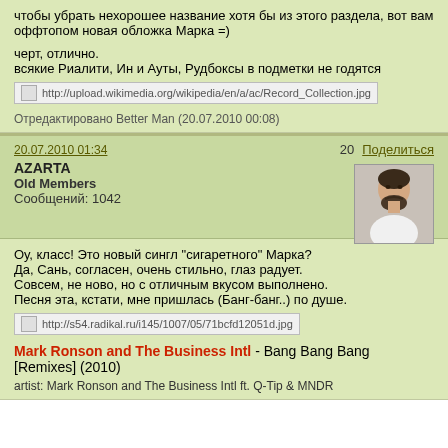чтобы убрать нехорошее название хотя бы из этого раздела, вот вам оффтопом новая обложка Марка =)
черт, отлично.
всякие Риалити, Ин и Ауты, Рудбоксы в подметки не годятся
[Figure (other): Image placeholder with URL: http://upload.wikimedia.org/wikipedia/en/a/ac/Record_Collection.jpg]
Отредактировано Better Man (20.07.2010 00:08)
20.07.2010 01:34
20
Поделиться
AZARTA
Old Members
Сообщений: 1042
[Figure (photo): Avatar photo of user AZARTA - man with beard in white shirt]
Оу, класс! Это новый сингл "сигаретного" Марка?
Да, Сань, согласен, очень стильно, глаз радует.
Совсем, не ново, но с отличным вкусом выполнено.
Песня эта, кстати, мне пришлась (Банг-банг..) по душе.
[Figure (other): Image placeholder with URL: http://s54.radikal.ru/i145/1007/05/71bcfd12051d.jpg]
Mark Ronson and The Business Intl - Bang Bang Bang [Remixes] (2010)
artist: Mark Ronson and The Business Intl ft. Q-Tip & MNDR